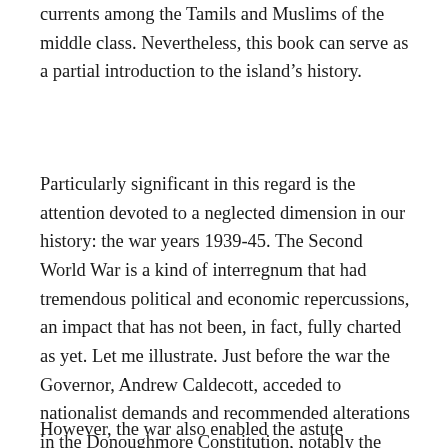currents among the Tamils and Muslims of the middle class. Nevertheless, this book can serve as a partial introduction to the island's history.
Particularly significant in this regard is the attention devoted to a neglected dimension in our history: the war years 1939-45. The Second World War is a kind of interregnum that had tremendous political and economic repercussions, an impact that has not been, in fact, fully charted as yet. Let me illustrate. Just before the war the Governor, Andrew Caldecott, acceded to nationalist demands and recommended alterations in the Donoughmore Constitution, notably the abolition of the Executive Committee system. The outbreak of war put a stop to this line of progress in the devolution of colonial power.
However, the war also enabled the astute